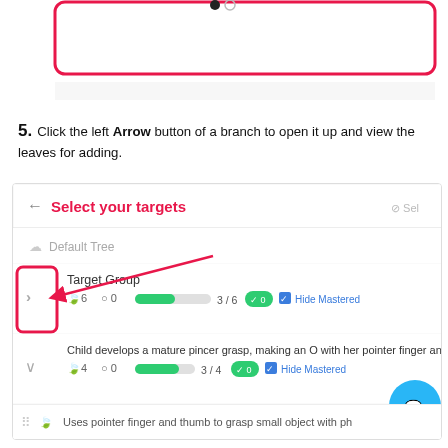[Figure (screenshot): Partial screenshot showing a UI element with a pink/red rounded rectangle border at the top of the page]
5. Click the left Arrow button of a branch to open it up and view the leaves for adding.
[Figure (screenshot): Screenshot of a 'Select your targets' UI panel showing Default Tree, Target Group with 6 leaves and 0 comments, progress bar 3/6, Hide Mastered checkbox, a child development target with 4 leaves, progress 3/4, Add Leaf button, and a leaf item. A pink arrow and highlighted box point to the left arrow/chevron button. A blue chat button appears in the bottom right.]